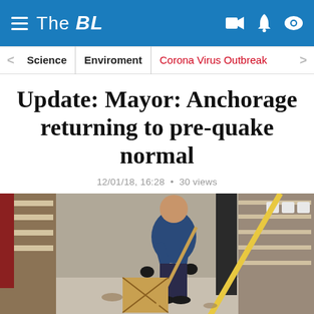The BL
Science | Enviroment | Corona Virus Outbreak
Update: Mayor: Anchorage returning to pre-quake normal
12/01/18, 16:28 • 30 views
[Figure (photo): A person sweeping debris in a store aisle with fallen products after an earthquake]
Social share buttons: location pin, Facebook, Twitter, Telegram, WhatsApp, Reddit, email, share